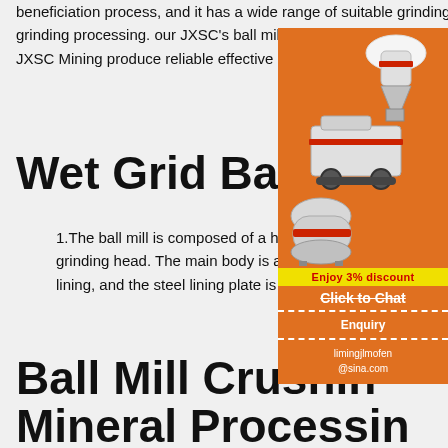beneficiation process, and it has a wide range of suitable grinding mineral and can works on wet and dry grinding processing. our JXSC's ball mills are perfectly used for ores such as gold, iron, zinc ore, copper, etc.. JXSC Mining produce reliable effective ball mill for long life and ...
Wet Grid Ball Mi...
1.The ball mill is composed of a horizontal cylinder, a hollow shaft for feeding and discharging, and a grinding head. The main body is a long cylinder made of steel. The cylinder is provided with an abrasive lining, and the steel lining plate is fixed to the cylinder...
Ball Mill Crushing Mineral Processing & Metallurgy
[Figure (photo): Advertisement banner showing mining/crushing machinery (cone crusher, mobile crusher, ball mill) on orange background with '3% discount', 'Click to Chat', 'Enquiry', and 'limingjlmofen@sina.com' contact details]